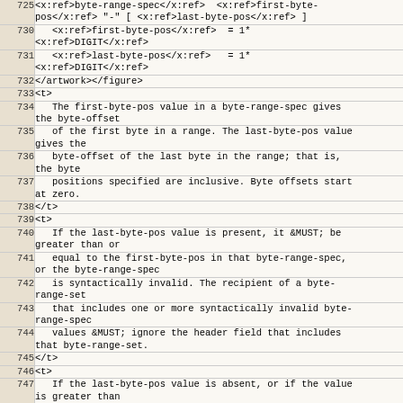| line | code |
| --- | --- |
| 725 | <x:ref>byte-range-spec</x:ref>  <x:ref>first-byte-
pos</x:ref> "-" [ <x:ref>last-byte-pos</x:ref> ] |
| 730 |    <x:ref>first-byte-pos</x:ref>  = 1*
<x:ref>DIGIT</x:ref> |
| 731 |    <x:ref>last-byte-pos</x:ref>   = 1*
<x:ref>DIGIT</x:ref> |
| 732 | </artwork></figure> |
| 733 | <t> |
| 734 |    The first-byte-pos value in a byte-range-spec gives
the byte-offset |
| 735 |    of the first byte in a range. The last-byte-pos value
gives the |
| 736 |    byte-offset of the last byte in the range; that is,
the byte |
| 737 |    positions specified are inclusive. Byte offsets start
at zero. |
| 738 | </t> |
| 739 | <t> |
| 740 |    If the last-byte-pos value is present, it &MUST; be
greater than or |
| 741 |    equal to the first-byte-pos in that byte-range-spec,
or the byte-range-spec |
| 742 |    is syntactically invalid. The recipient of a byte-
range-set |
| 743 |    that includes one or more syntactically invalid byte-
range-spec |
| 744 |    values &MUST; ignore the header field that includes
that byte-range-set. |
| 745 | </t> |
| 746 | <t> |
| 747 |    If the last-byte-pos value is absent, or if the value
is greater than |
| 748 |    or equal to the current length of the representation
body, last-byte-pos is |
| 749 |    taken to be equal to one less than the current length |